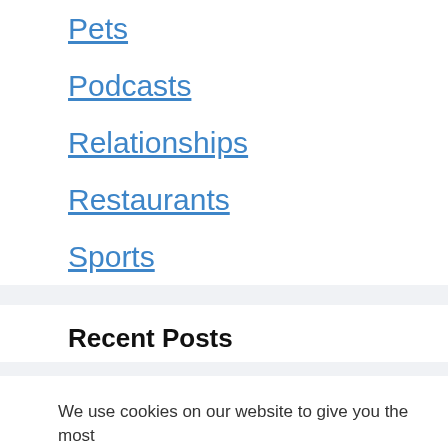Pets
Podcasts
Relationships
Restaurants
Sports
Recent Posts
Way forward for Web3 or only a market gimmick?
Colorado Republican turns into a Democrat,
We use cookies on our website to give you the most